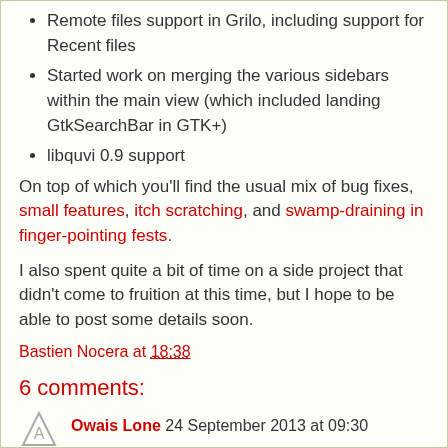Remote files support in Grilo, including support for Recent files
Started work on merging the various sidebars within the main view (which included landing GtkSearchBar in GTK+)
libquvi 0.9 support
On top of which you'll find the usual mix of bug fixes, small features, itch scratching, and swamp-draining in finger-pointing fests.
I also spent quite a bit of time on a side project that didn't come to fruition at this time, but I hope to be able to post some details soon.
Bastien Nocera at 18:38
6 comments:
Owais Lone 24 September 2013 at 09:30